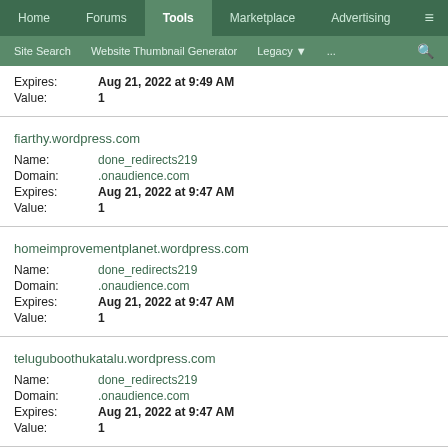Home | Forums | Tools | Marketplace | Advertising | ≡ | Site Search | Website Thumbnail Generator | Legacy | ... | 🔍
Expires: Aug 21, 2022 at 9:49 AM
Value: 1
fiarthy.wordpress.com
Name: done_redirects219
Domain: .onaudience.com
Expires: Aug 21, 2022 at 9:47 AM
Value: 1
homeimprovementplanet.wordpress.com
Name: done_redirects219
Domain: .onaudience.com
Expires: Aug 21, 2022 at 9:47 AM
Value: 1
teluguboothukatalu.wordpress.com
Name: done_redirects219
Domain: .onaudience.com
Expires: Aug 21, 2022 at 9:47 AM
Value: 1
mypinnacledesign.com